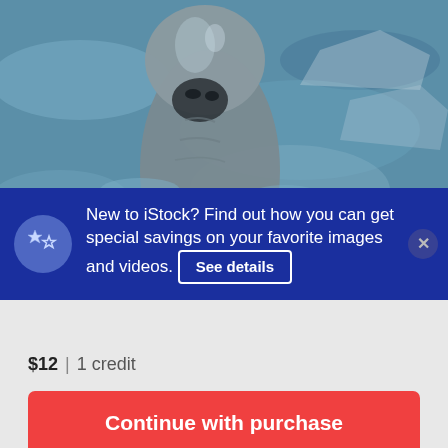[Figure (photo): Close-up photo of a manatee or marine mammal surfacing from blue-grey water, wet glistening skin visible with water reflections in background]
New to iStock? Find out how you can get special savings on your favorite images and videos. See details
$12 | 1 credit
Continue with purchase